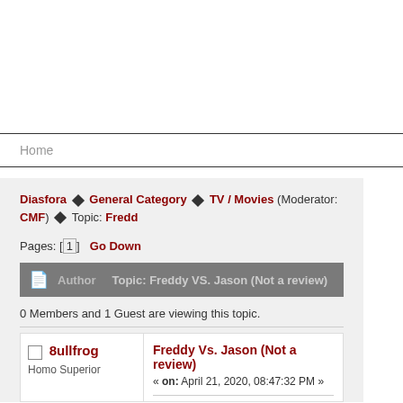Home
Diasfora ◆ General Category ◆ TV / Movies (Moderator: CMF) ◆ Topic: Fredd...
Pages: [1]  Go Down
Author   Topic: Freddy VS. Jason (Not a review)
0 Members and 1 Guest are viewing this topic.
8ullfrog  Freddy Vs. Jason (Not a review) « on: April 21, 2020, 08:47:32 PM »  Homo Superior